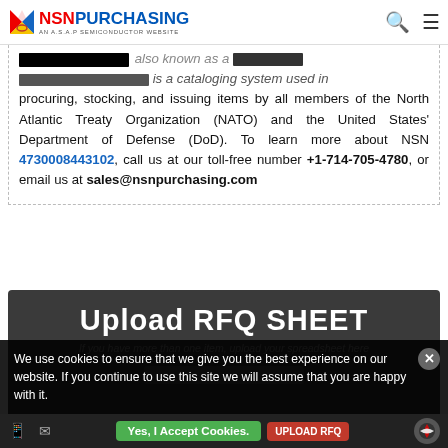NSN PURCHASING — AN A.S.A.P SEMICONDUCTOR WEBSITE
...number, also known as a national stock number, is a cataloging system used in procuring, stocking, and issuing items by all members of the North Atlantic Treaty Organization (NATO) and the United States' Department of Defense (DoD). To learn more about NSN 4730008443102, call us at our toll-free number +1-714-705-4780, or email us at sales@nsnpurchasing.com
Upload RFQ SHEET
If you have more than one item, upload your spreadsheet here
We use cookies to ensure that we give you the best experience on our website. If you continue to use this site we will assume that you are happy with it.